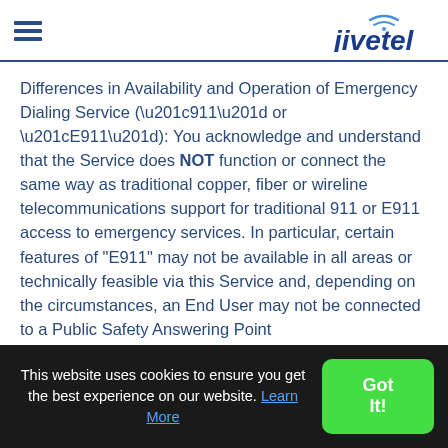jivetel
Differences in Availability and Operation of Emergency Dialing Service (“911” or “E911”): You acknowledge and understand that the Service does NOT function or connect the same way as traditional copper, fiber or wireline telecommunications support for traditional 911 or E911 access to emergency services. In particular, certain features of "E911" may not be available in all areas or technically feasible via this Service and, depending on the circumstances, an End User may not be connected to a Public Safety Answering Point
This website uses cookies to ensure you get the best experience on our website. Learn More